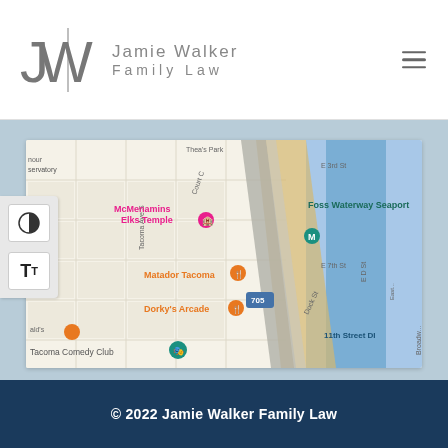Jamie Walker Family Law
[Figure (map): Google Maps screenshot showing downtown Tacoma, WA area with landmarks including McMenamins Elks Temple, Matador Tacoma, Dorky's Arcade, Tacoma Comedy Club, Foss Waterway Seaport, and 11th Street DI, with Interstate 705 and Dock St visible.]
© 2022 Jamie Walker Family Law